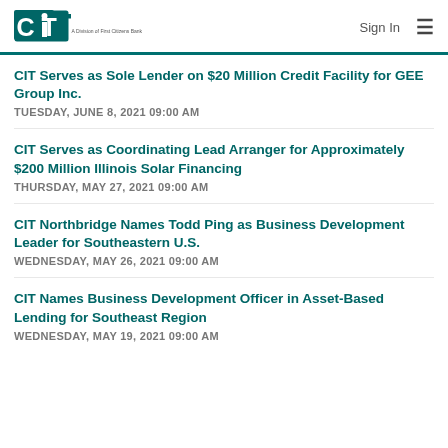CIT – A Division of First Citizens Bank | Sign In
CIT Serves as Sole Lender on $20 Million Credit Facility for GEE Group Inc.
TUESDAY, JUNE 8, 2021 09:00 AM
CIT Serves as Coordinating Lead Arranger for Approximately $200 Million Illinois Solar Financing
THURSDAY, MAY 27, 2021 09:00 AM
CIT Northbridge Names Todd Ping as Business Development Leader for Southeastern U.S.
WEDNESDAY, MAY 26, 2021 09:00 AM
CIT Names Business Development Officer in Asset-Based Lending for Southeast Region
WEDNESDAY, MAY 19, 2021 09:00 AM